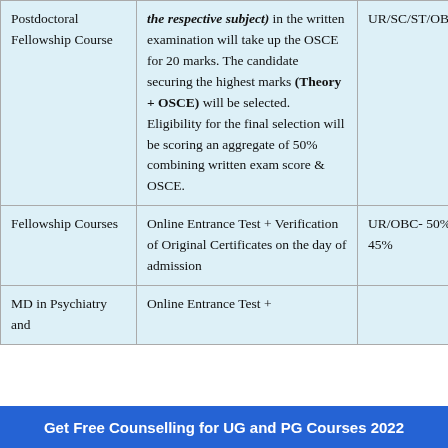| Postdoctoral Fellowship Course | the respective subject) in the written examination will take up the OSCE for 20 marks. The candidate securing the highest marks (Theory + OSCE) will be selected. Eligibility for the final selection will be scoring an aggregate of 50% combining written exam score & OSCE. | UR/SC/ST/OBC- 50% |
| Fellowship Courses | Online Entrance Test + Verification of Original Certificates on the day of admission | UR/OBC- 50% SC/ST – 45% |
| MD in Psychiatry and | Online Entrance Test + |  |
Get Free Counselling for UG and PG Courses 2022